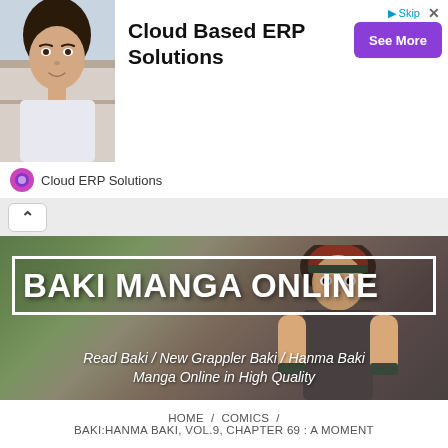[Figure (illustration): Advertisement banner for Cloud Based ERP Solutions showing a woman's photo on the left, bold text 'Cloud Based ERP Solutions' in center, purple 'See More' button on right, and 'Cloud ERP Solutions' brand name with icon at bottom.]
Cloud Based ERP Solutions
Cloud ERP Solutions
[Figure (screenshot): Browser tab bar showing a back/up chevron arrow in a white rounded tab on grey background.]
[Figure (illustration): Hero banner with manga artwork background showing a fighter character. White bordered box contains the site title 'BAKI MANGA ONLINE'. Below the box is the subtitle text.]
BAKI MANGA ONLINE
Read Baki / New Grappler Baki / Hanma Baki Manga Online in High Quality
≡ MENU
HOME / COMICS / BAKI:HANMA BAKI, VOL.9, CHAPTER 69 : A MOMENT